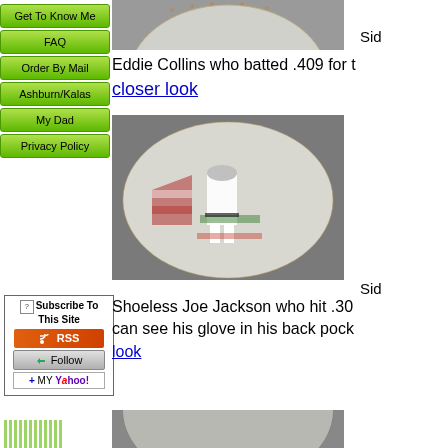Get To Know Me
FAQ
Order By Mail
Ashburn/Kalas
My Dad
Privacy Policy
Subscribe To This Site
[Figure (photo): Top portion of a painted baseball]
Sid
Eddie Collins who batted .409 for t closer look
[Figure (photo): Painted baseball showing Shoeless Joe Jackson in a baseball uniform with glove in back pocket]
Sid
Shoeless Joe Jackson who hit .30 can see his glove in his back pock look
[Figure (photo): Bottom portion of another painted baseball]